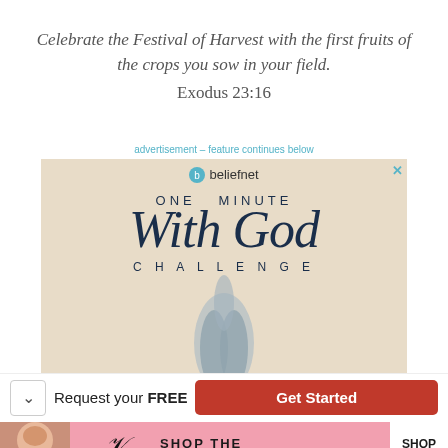Celebrate the Festival of Harvest with the first fruits of the crops you sow in your field. Exodus 23:16
advertisement – feature continues below
[Figure (illustration): Beliefnet 'One Minute With God Challenge' advertisement banner showing praying hands against a beige background, with the Beliefnet logo, 'ONE MINUTE' in spaced caps, 'With God' in large serif italic script, and 'CHALLENGE' in spaced caps below.]
Request your FREE  Get Started
[Figure (illustration): Victoria's Secret advertisement banner showing a model on the left, the VS logo in the center, and 'SHOP THE COLLECTION' text with a 'SHOP NOW' white button on a pink background.]